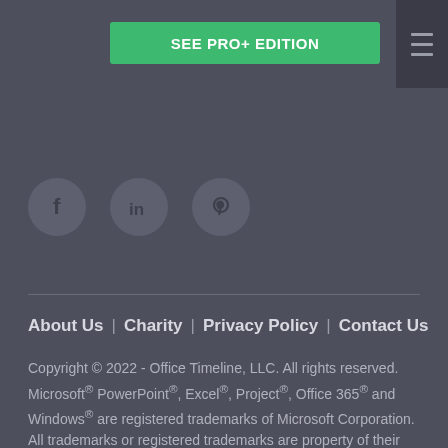SEE PRO+ EDITION
[Figure (illustration): Social media icons: Facebook, LinkedIn, Pinterest in circular grey buttons]
About Us | Charity | Privacy Policy | Contact Us
Copyright © 2022 - Office Timeline, LLC. All rights reserved. Microsoft® PowerPoint®, Excel®, Project®, Office 365® and Windows® are registered trademarks of Microsoft Corporation.
All trademarks or registered trademarks are property of their respective owners.